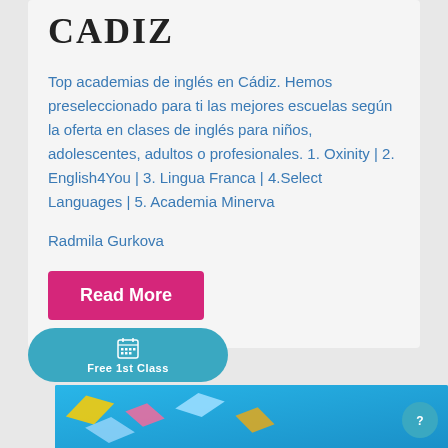CADIZ
Top academias de inglés en Cádiz. Hemos preseleccionado para ti las mejores escuelas según la oferta en clases de inglés para niños, adolescentes, adultos o profesionales. 1. Oxinity | 2. English4You | 3. Lingua Franca | 4.Select Languages | 5. Academia Minerva
Radmila Gurkova
Read More
[Figure (screenshot): Teal rounded pill-shaped button with calendar icon and text 'Free 1st Class']
[Figure (photo): Blue background image with colorful envelope/mail icons]